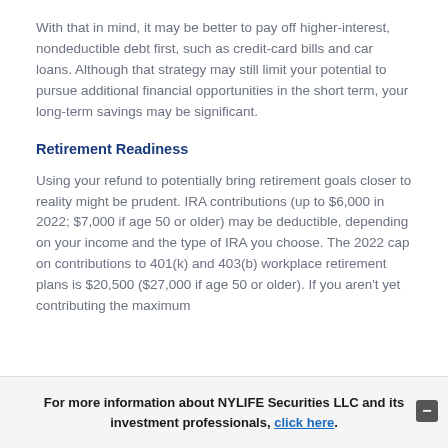With that in mind, it may be better to pay off higher-interest, nondeductible debt first, such as credit-card bills and car loans. Although that strategy may still limit your potential to pursue additional financial opportunities in the short term, your long-term savings may be significant.
Retirement Readiness
Using your refund to potentially bring retirement goals closer to reality might be prudent. IRA contributions (up to $6,000 in 2022; $7,000 if age 50 or older) may be deductible, depending on your income and the type of IRA you choose. The 2022 cap on contributions to 401(k) and 403(b) workplace retirement plans is $20,500 ($27,000 if age 50 or older). If you aren't yet contributing the maximum
For more information about NYLIFE Securities LLC and its investment professionals, click here.